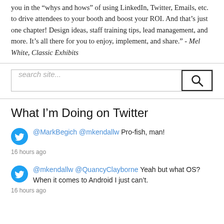you in the "whys and hows" of using LinkedIn, Twitter, Emails, etc. to drive attendees to your booth and boost your ROI. And that's just one chapter! Design ideas, staff training tips, lead management, and more. It's all there for you to enjoy, implement, and share." - Mel White, Classic Exhibits
[Figure (screenshot): Search site input box with magnifying glass icon button]
What I'm Doing on Twitter
@MarkBegich @mkendallw Pro-fish, man!
16 hours ago
@mkendallw @QuancyClayborne Yeah but what OS? When it comes to Android I just can't.
16 hours ago